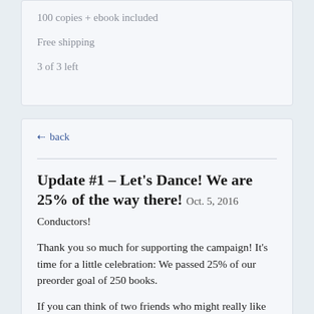100 copies + ebook included
Free shipping
3 of 3 left
← back
Update #1 – Let's Dance! We are 25% of the way there! Oct. 5, 2016
Conductors!
Thank you so much for supporting the campaign! It's time for a little celebration: We passed 25% of our preorder goal of 250 books.
If you can think of two friends who might really like the book (or the bonuses!), I'd love for you to share this with them, and you will look awesome for thinking of them!